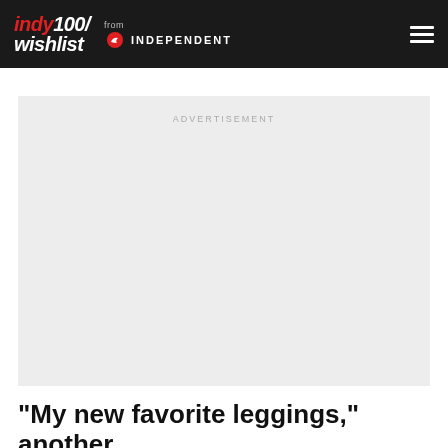indy100/wishlist from INDEPENDENT
[Figure (other): Advertisement placeholder box with light gray background and ADVERTISEMENT label]
"My new favorite leggings," another